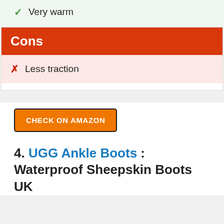✓ Very warm
Cons
✗ Less traction
CHECK ON AMAZON
4. UGG Ankle Boots : Waterproof Sheepskin Boots UK